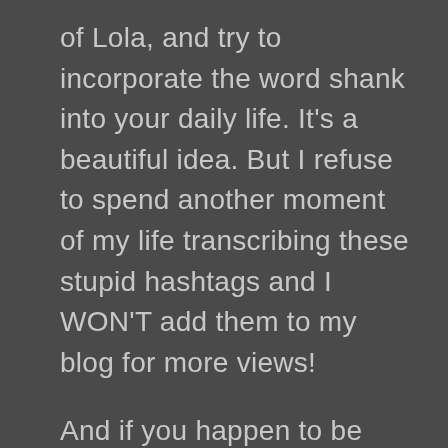of Lola, and try to incorporate the word shank into your daily life. It's a beautiful idea. But I refuse to spend another moment of my life transcribing these stupid hashtags and I WON'T add them to my blog for more views!
And if you happen to be one of those hash-tagging aficionados we talked about earlier and you feel like spreading my blog, I won't stop you. May I recommend the tag